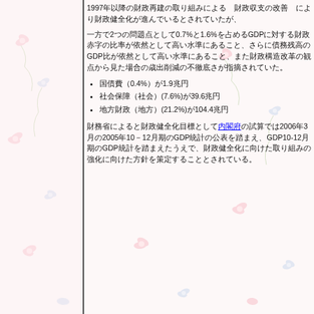1997年以降の財政再建の取り組みによる　財政収支の改善　により財政健全化が進んでいるとされていたが、
一方で2つの問題点として0.7%と1.6%を占めるGDPに対する財政赤字の比率が依然として高い水準にあること、さらに債務残高のGDP比が依然として高い水準にあること、また財政構造改革の観点から見た場合の歳出削減の不徹底さが指摘されていた。
国債費（0.4%）が1.9兆円
社会保障（社会）(7.6%)が39.6兆円
地方財政（地方）(21.2%)が104.4兆円
財務省によると財政健全化目標として内閣府の試算では2006年3月の2005年10－12月期のGDP統計の公表を踏まえ、GDP10-12月期のGDP統計を踏まえたうえで、財政健全化に向けた取り組みの強化に向けた方針を策定することとされている。